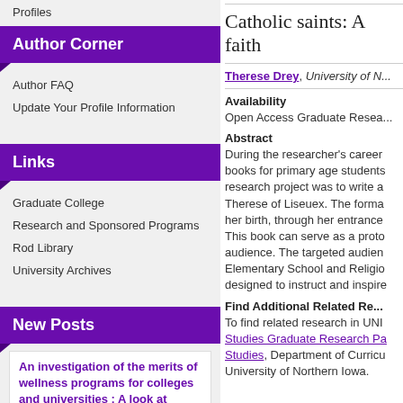Profiles
Author Corner
Author FAQ
Update Your Profile Information
Links
Graduate College
Research and Sponsored Programs
Rod Library
University Archives
New Posts
An investigation of the merits of wellness programs for colleges and universities : A look at developing the whole student
8/15/2022
Catholic saints: A faith
Therese Drey, University of N...
Availability
Open Access Graduate Resea...
Abstract
During the researcher's career books for primary age students research project was to write a Therese of Liseuex. The forma her birth, through her entrance This book can serve as a proto audience. The targeted audien Elementary School and Religio designed to instruct and inspire
Find Additional Related Re...
To find related research in UNI Studies Graduate Research Pa Studies, Department of Curricu University of Northern Iowa.